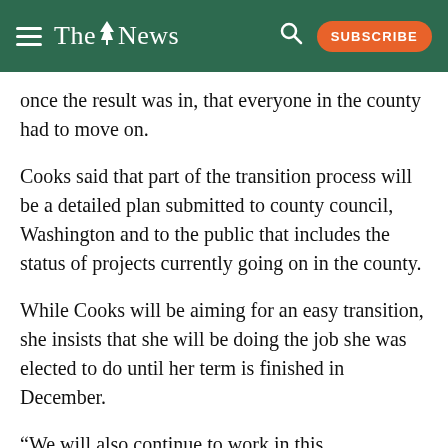The News — Subscribe
once the result was in, that everyone in the county had to move on.
Cooks said that part of the transition process will be a detailed plan submitted to county council, Washington and to the public that includes the status of projects currently going on in the county.
While Cooks will be aiming for an easy transition, she insists that she will be doing the job she was elected to do until her term is finished in December.
“We will also continue to work in this administration, there will be no lame duck syndrome,” Cooks said. “We will continue through December 31.”